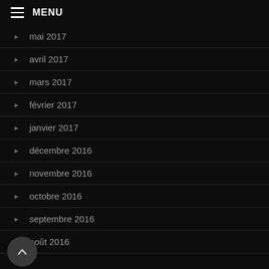MENU
mai 2017
avril 2017
mars 2017
février 2017
janvier 2017
décembre 2016
novembre 2016
octobre 2016
septembre 2016
août 2016